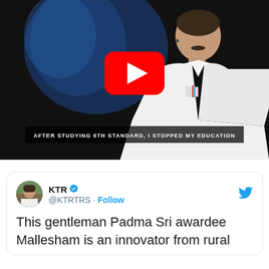[Figure (screenshot): YouTube video thumbnail showing a man in a white shirt on a dark stage with a blue background. A red YouTube play button is overlaid at center. A subtitle reads 'AFTER STUDYING 6TH STANDARD, I STOPPED MY EDUCATION'.]
KTR @KTRTRS · Follow
This gentleman Padma Sri awardee Mallesham is an innovator from rural